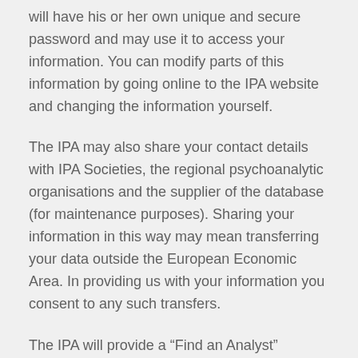will have his or her own unique and secure password and may use it to access your information. You can modify parts of this information by going online to the IPA website and changing the information yourself.
The IPA may also share your contact details with IPA Societies, the regional psychoanalytic organisations and the supplier of the database (for maintenance purposes). Sharing your information in this way may mean transferring your data outside the European Economic Area. In providing us with your information you consent to any such transfers.
The IPA will provide a “Find an Analyst” function on its website. Your name, Society (with its contact address), your training and child analyst statuses, together with